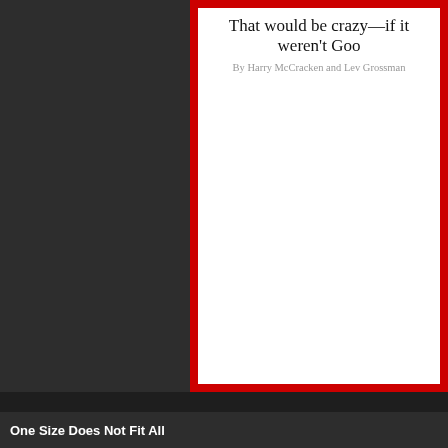[Figure (screenshot): Screenshot of a magazine article card with red border and white interior showing partial title 'That would be crazy—if it weren't Goo' and byline 'By Harry McCracken and Lev Grossman']
One Size Does Not Fit All
Somatic epitype
From Wikipedia, the free encyclopedia
A somatic epitype is a non-heritable epigenetic alteration i... Physically, the somatic epitype corresponds to changes in D... not reversed by normal cellular or nuclear repair mechanism... Current research suggests that somatic epitypes can be alt... differences in maternal care, or nutritional or behavioral stre...